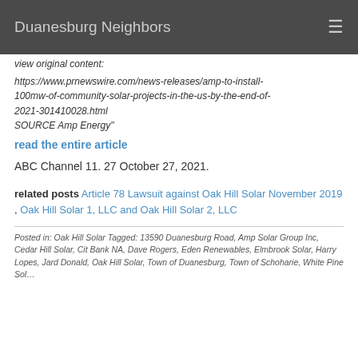Duanesburg Neighbors
view original content:
https://www.prnewswire.com/news-releases/amp-to-install-100mw-of-community-solar-projects-in-the-us-by-the-end-of-2021-301410028.html
SOURCE Amp Energy"
read the entire article
ABC Channel 11. 27 October 27, 2021.
related posts Article 78 Lawsuit against Oak Hill Solar November 2019 , Oak Hill Solar 1, LLC and Oak Hill Solar 2, LLC
Posted in: Oak Hill Solar Tagged: 13590 Duanesburg Road, Amp Solar Group Inc, Cedar Hill Solar, Cit Bank NA, Dave Rogers, Eden Renewables, Elmbrook Solar, Harry Lopes, Jard Donald, Oak Hill Solar, Town of Duanesburg, Town of Schoharie, White Pine Solar